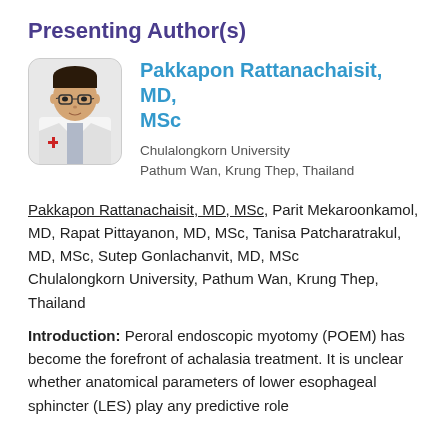Presenting Author(s)
[Figure (photo): Portrait photo of a young Asian male doctor in white coat with red cross emblem, wearing glasses, rounded rectangle frame]
Pakkapon Rattanachaisit, MD, MSc
Chulalongkorn University
Pathum Wan, Krung Thep, Thailand
Pakkapon Rattanachaisit, MD, MSc, Parit Mekaroonkamol, MD, Rapat Pittayanon, MD, MSc, Tanisa Patcharatrakul, MD, MSc, Sutep Gonlachanvit, MD, MSc
Chulalongkorn University, Pathum Wan, Krung Thep, Thailand
Introduction: Peroral endoscopic myotomy (POEM) has become the forefront of achalasia treatment. It is unclear whether anatomical parameters of lower esophageal sphincter (LES) play any predictive role